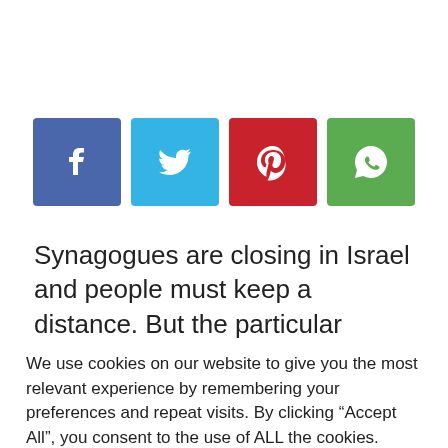[Figure (other): Four social share buttons: Facebook (blue), Twitter (light blue), Pinterest (red), WhatsApp (green)]
Synagogues are closing in Israel and people must keep a distance. But the particular group refuses, and the infection is greatest among them
We use cookies on our website to give you the most relevant experience by remembering your preferences and repeat visits. By clicking “Accept All”, you consent to the use of ALL the cookies. However, you may visit "Cookie Settings" to provide a controlled consent.
Cookie Settings | Accept All